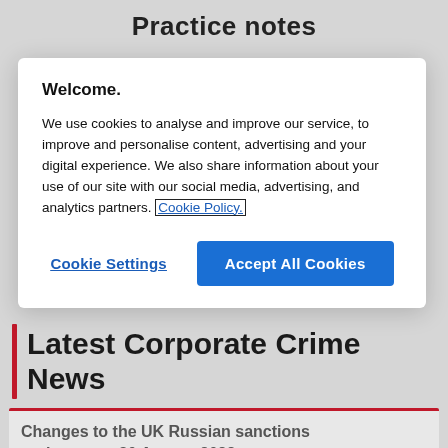Practice notes
Welcome.
We use cookies to analyse and improve our service, to improve and personalise content, advertising and your digital experience. We also share information about your use of our site with our social media, advertising, and analytics partners. Cookie Policy.
Cookie Settings
Accept All Cookies
Latest Corporate Crime News
Changes to the UK Russian sanctions regime as at 30 August 2022